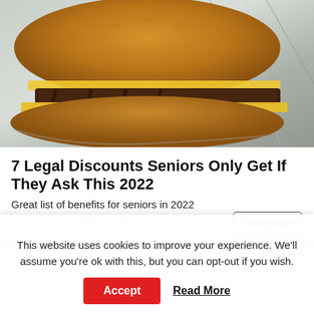[Figure (photo): Close-up photo of a double cheeseburger with melted cheese on foil wrapping]
7 Legal Discounts Seniors Only Get If They Ask This 2022
Great list of benefits for seniors in 2022
Senior Discounts By National Penny | Sponsored
Learn More
This website uses cookies to improve your experience. We'll assume you're ok with this, but you can opt-out if you wish.
Accept
Read More